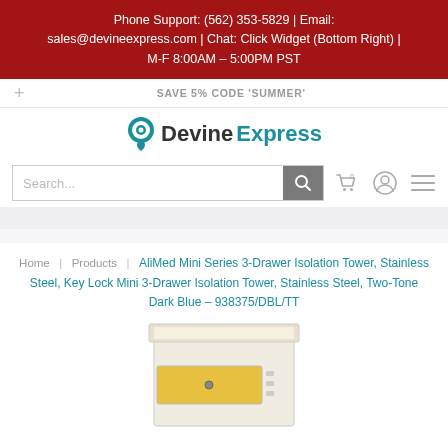Phone Support: (562) 353-5829 | Email: sales@devineexpress.com | Chat: Click Widget (Bottom Right) | M-F 8:00AM – 5:00PM PST
SAVE 5% CODE 'SUMMER'
[Figure (logo): DevineExpress logo with location pin icon]
[Figure (screenshot): Search bar with search button, cart icon, user icon, and menu icon]
Home | Products | AliMed Mini Series 3-Drawer Isolation Tower, Stainless Steel, Key Lock Mini 3-Drawer Isolation Tower, Stainless Steel, Two-Tone Dark Blue – 938375/DBL/TT
[Figure (photo): Product photo showing an AliMed Mini Series 3-Drawer Isolation Tower in white and yellow two-tone stainless steel]